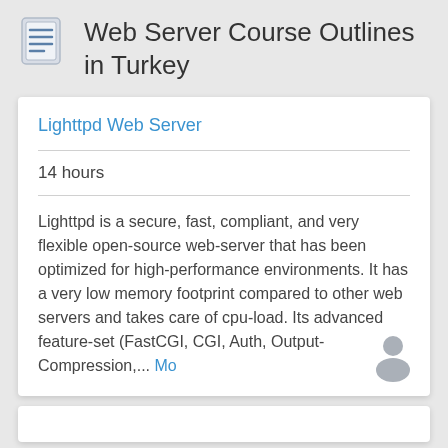Web Server Course Outlines in Turkey
Lighttpd Web Server
14 hours
Lighttpd is a secure, fast, compliant, and very flexible open-source web-server that has been optimized for high-performance environments. It has a very low memory footprint compared to other web servers and takes care of cpu-load. Its advanced feature-set (FastCGI, CGI, Auth, Output-Compression,... Mo